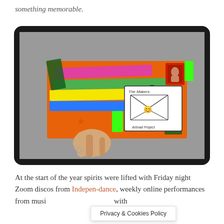something memorable.
[Figure (photo): A hand holding a brightly decorated orange envelope with colorful marker stripes (pink, green, yellow, blue). The envelope has a red postage stamp in the upper right, green tape accents, and a white label reading 'The Makers' with a small envelope illustration and 'Artmail Project' below it. The scene is set against a grey background, shown inside a black-bordered tablet/frame.]
At the start of the year spirits were lifted with Friday night Zoom discos from Indepen-dance, weekly online performances from musi with
Privacy & Cookies Policy